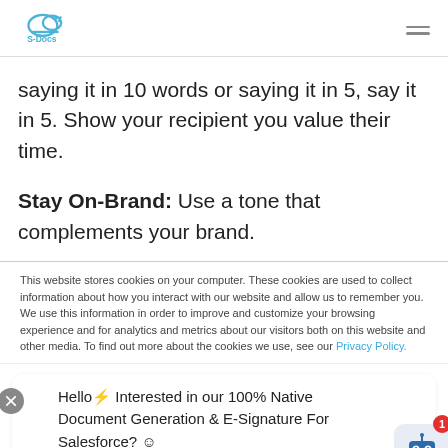S-Docs logo and navigation menu
saying it in 10 words or saying it in 5, say it in 5. Show your recipient you value their time.
Stay On-Brand: Use a tone that complements your brand.
This website stores cookies on your computer. These cookies are used to collect information about how you interact with our website and allow us to remember you. We use this information in order to improve and customize your browsing experience and for analytics and metrics about our visitors both on this website and other media. To find out more about the cookies we use, see our Privacy Policy.
Hello! Interested in our 100% Native Document Generation & E-Signature For Salesforce? 😊